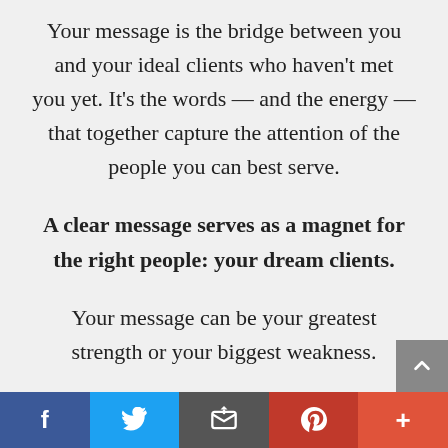Your message is the bridge between you and your ideal clients who haven't met you yet. It's the words — and the energy — that together capture the attention of the people you can best serve.
A clear message serves as a magnet for the right people: your dream clients.
Your message can be your greatest strength or your biggest weakness.
f  [twitter]  [email]  p  +